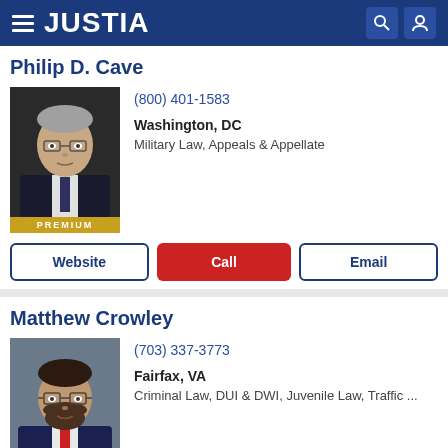JUSTIA
Philip D. Cave
[Figure (photo): Professional headshot of Philip D. Cave, older man with gray hair and glasses in a suit]
(800) 401-1583
Washington, DC
Military Law, Appeals & Appellate
Website
Call
Email
Matthew Crowley
[Figure (photo): Professional headshot of Matthew Crowley, man with dark beard and glasses in a suit with red tie]
(703) 337-3773
Fairfax, VA
Criminal Law, DUI & DWI, Juvenile Law, Traffic ...
Website
Call
Email